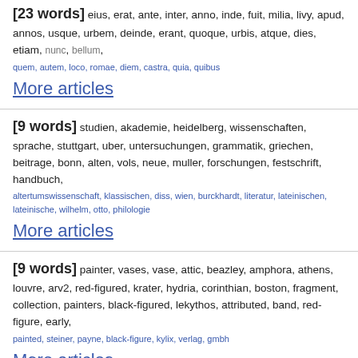[23 words] eius, erat, ante, inter, anno, inde, fuit, milia, livy, apud, annos, usque, urbem, deinde, erant, quoque, urbis, atque, dies, etiam, nunc, bellum, quem, autem, loco, romae, diem, castra, quia, quibus
More articles
[9 words] studien, akademie, heidelberg, wissenschaften, sprache, stuttgart, uber, untersuchungen, grammatik, griechen, beitrage, bonn, alten, vols, neue, muller, forschungen, festschrift, handbuch, altertumswissenschaft, klassischen, diss, wien, burckhardt, literatur, lateinischen, lateinische, wilhelm, otto, philologie
More articles
[9 words] painter, vases, vase, attic, beazley, amphora, athens, louvre, arv2, red-figured, krater, hydria, corinthian, boston, fragment, collection, painters, black-figured, lekythos, attributed, band, red-figure, early, painted, steiner, payne, black-figure, kylix, verlag, gmbh
More articles
[8 words] pour, mais, nous, comme, cette, avec, sont, meme, deux, fait, bien,